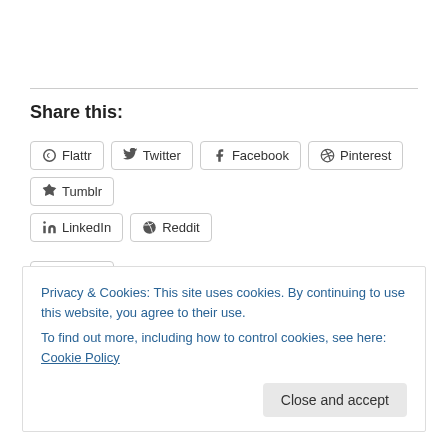Share this:
Flattr
Twitter
Facebook
Pinterest
Tumblr
LinkedIn
Reddit
Like
Be the first to like this.
Privacy & Cookies: This site uses cookies. By continuing to use this website, you agree to their use.
To find out more, including how to control cookies, see here: Cookie Policy
Close and accept